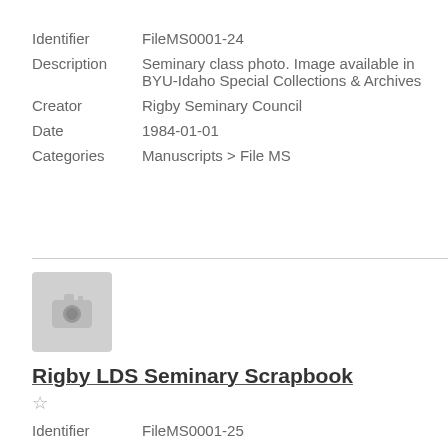Identifier    FileMS0001-24
Description  Seminary class photo. Image available in BYU-Idaho Special Collections & Archives
Creator       Rigby Seminary Council
Date           1984-01-01
Categories  Manuscripts > File MS
[Figure (photo): Placeholder camera icon for Rigby LDS Seminary Scrapbook]
Rigby LDS Seminary Scrapbook
☆
Identifier    FileMS0001-25